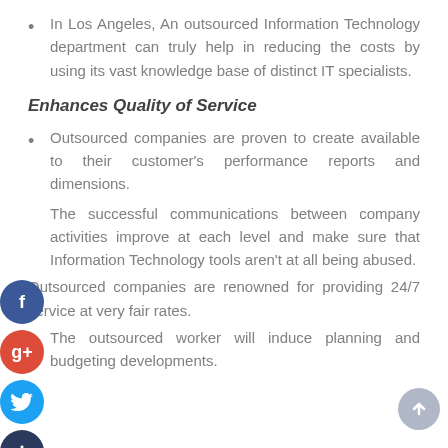In Los Angeles, An outsourced Information Technology department can truly help in reducing the costs by using its vast knowledge base of distinct IT specialists.
Enhances Quality of Service
Outsourced companies are proven to create available to their customer's performance reports and dimensions.
The successful communications between company activities improve at each level and make sure that Information Technology tools aren't at all being abused.
Outsourced companies are renowned for providing 24/7 service at very fair rates.
The outsourced worker will induce planning and budgeting developments.